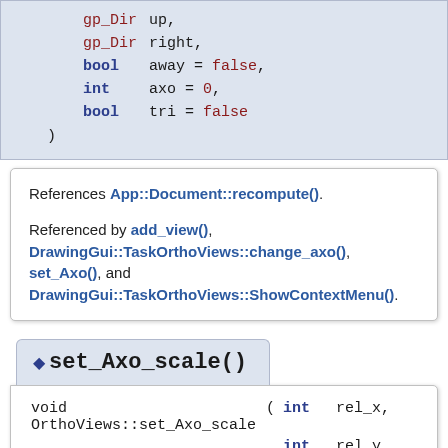gp_Dir up,
gp_Dir right,
bool   away = false,
int    axo = 0,
bool   tri = false
)
References App::Document::recompute().

Referenced by add_view(), DrawingGui::TaskOrthoViews::change_axo(), set_Axo(), and DrawingGui::TaskOrthoViews::ShowContextMenu().
set_Axo_scale()
void OrthoViews::set_Axo_scale ( int rel_x,
                                int rel_y,
                                float axo_scale